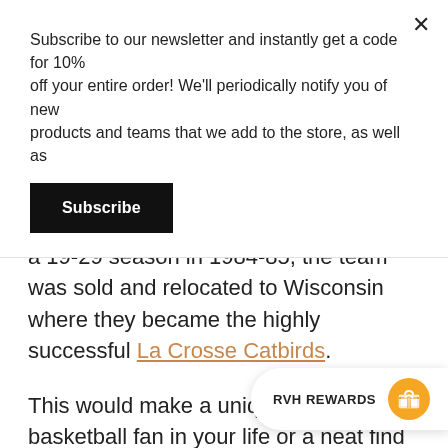Subscribe to our newsletter and instantly get a code for 10% off your entire order! We'll periodically notify you of new products and teams that we add to the store, as well as
Subscribe
where attendance was disastrous. After a 19-29 season in 1984-85, the team was sold and relocated to Wisconsin where they became the highly successful La Crosse Catbirds.
This would make a unique gift for the basketball fan in your life or a neat find for yourself of a vintage basketball team from Kentucky.
Free standard shipping, no that we are a print-on-demand shop, which means